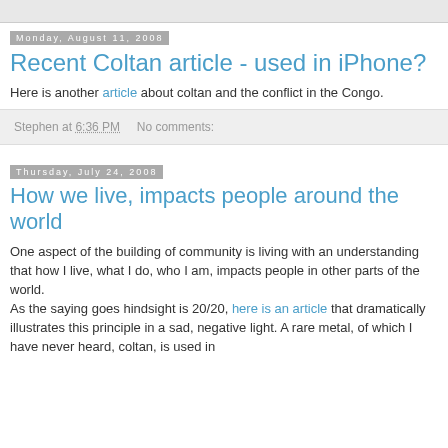Monday, August 11, 2008
Recent Coltan article - used in iPhone?
Here is another article about coltan and the conflict in the Congo.
Stephen at 6:36 PM    No comments:
Thursday, July 24, 2008
How we live, impacts people around the world
One aspect of the building of community is living with an understanding that how I live, what I do, who I am, impacts people in other parts of the world.
As the saying goes hindsight is 20/20, here is an article that dramatically illustrates this principle in a sad, negative light. A rare metal, of which I have never heard, coltan, is used in